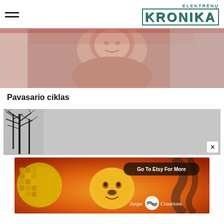ELEKTRĖNŲ KRONIKA
[Figure (photo): Close-up photo of a smiling person in a pinkish/salmon colored outfit, outdoors with red brick background]
Pavasario ciklas
[Figure (illustration): Black and white artistic illustration of bare winter trees silhouetted against a textured grey sky]
[Figure (illustration): Colorful advertisement banner with orange/fire background featuring a stylized sun face with honeycomb pattern, Jurga Creations logo, and 'Go To Etsy For More' button]